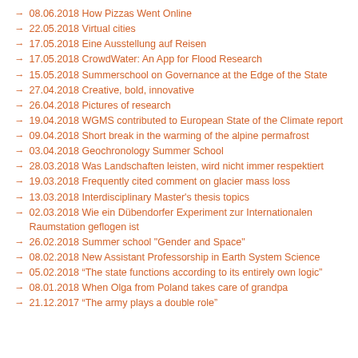08.06.2018 How Pizzas Went Online
22.05.2018 Virtual cities
17.05.2018 Eine Ausstellung auf Reisen
17.05.2018 CrowdWater: An App for Flood Research
15.05.2018 Summerschool on Governance at the Edge of the State
27.04.2018 Creative, bold, innovative
26.04.2018 Pictures of research
19.04.2018 WGMS contributed to European State of the Climate report
09.04.2018 Short break in the warming of the alpine permafrost
03.04.2018 Geochronology Summer School
28.03.2018 Was Landschaften leisten, wird nicht immer respektiert
19.03.2018 Frequently cited comment on glacier mass loss
13.03.2018 Interdisciplinary Master's thesis topics
02.03.2018 Wie ein Dübendorfer Experiment zur Internationalen Raumstation geflogen ist
26.02.2018 Summer school "Gender and Space"
08.02.2018 New Assistant Professorship in Earth System Science
05.02.2018 “The state functions according to its entirely own logic”
08.01.2018 When Olga from Poland takes care of grandpa
21.12.2017 “The army plays a double role”